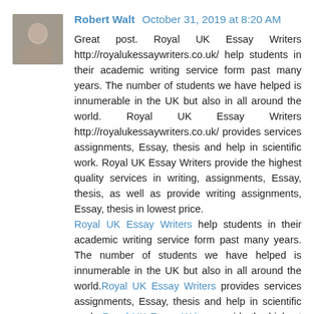[Figure (photo): Profile photo of a young man, grayscale]
Robert Walt October 31, 2019 at 8:20 AM
Great post. Royal UK Essay Writers http://royalukessaywriters.co.uk/ help students in their academic writing service form past many years. The number of students we have helped is innumerable in the UK but also in all around the world. Royal UK Essay Writers http://royalukessaywriters.co.uk/ provides services assignments, Essay, thesis and help in scientific work. Royal UK Essay Writers provide the highest quality services in writing, assignments, Essay, thesis, as well as provide writing assignments, Essay, thesis in lowest price. Royal UK Essay Writers help students in their academic writing service form past many years. The number of students we have helped is innumerable in the UK but also in all around the world.Royal UK Essay Writers provides services assignments, Essay, thesis and help in scientific work. Royal UK Essay Writersprovide the highest quality services in writing, assignments, Essay, thesis, as well as provide writing assignments, Essay, thesis in lowest price. There are times when you may not have time to write a comprehensible essay. You have an idea, but the problem